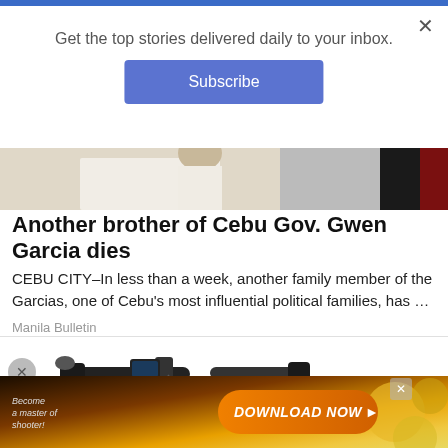Get the top stories delivered daily to your inbox.
Subscribe
[Figure (photo): Partial view of a person in a white shirt, with dark background and a red stripe on the right side]
Another brother of Cebu Gov. Gwen Garcia dies
CEBU CITY–In less than a week, another family member of the Garcias, one of Cebu's most influential political families, has …
Manila Bulletin
[Figure (photo): Close-up of electric bicycle handlebars with red tail lights visible on a dark motorcycle in the background]
[Figure (photo): Bottom advertisement banner with orange gradient, text reading 'Become a master of shooter!' and a large orange button reading 'DOWNLOAD NOW']